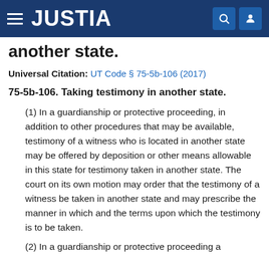JUSTIA
another state.
Universal Citation: UT Code § 75-5b-106 (2017)
75-5b-106. Taking testimony in another state.
(1) In a guardianship or protective proceeding, in addition to other procedures that may be available, testimony of a witness who is located in another state may be offered by deposition or other means allowable in this state for testimony taken in another state. The court on its own motion may order that the testimony of a witness be taken in another state and may prescribe the manner in which and the terms upon which the testimony is to be taken.
(2) In a guardianship or protective proceeding a